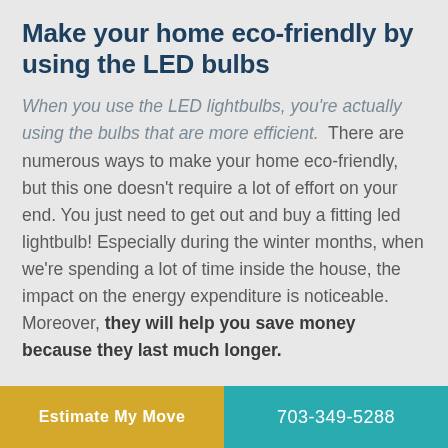Make your home eco-friendly by using the LED bulbs
When you use the LED lightbulbs, you're actually using the bulbs that are more efficient.  There are numerous ways to make your home eco-friendly, but this one doesn't require a lot of effort on your end. You just need to get out and buy a fitting led lightbulb! Especially during the winter months, when we're spending a lot of time inside the house, the impact on the energy expenditure is noticeable. Moreover, they will help you save money because they last much longer.
Start recycling and reducing
Estimate My Move | 703-349-5288